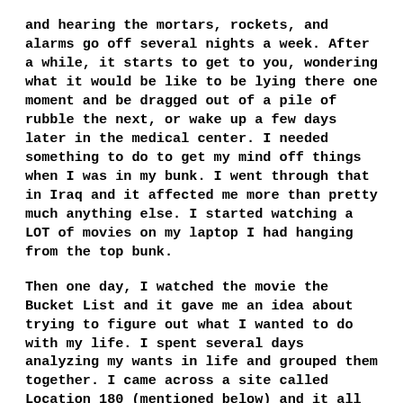and hearing the mortars, rockets, and alarms go off several nights a week. After a while, it starts to get to you, wondering what it would be like to be lying there one moment and be dragged out of a pile of rubble the next, or wake up a few days later in the medical center. I needed something to do to get my mind off things when I was in my bunk. I went through that in Iraq and it affected me more than pretty much anything else. I started watching a LOT of movies on my laptop I had hanging from the top bunk.
Then one day, I watched the movie the Bucket List and it gave me an idea about trying to figure out what I wanted to do with my life. I spent several days analyzing my wants in life and grouped them together. I came across a site called Location 180 (mentioned below) and it all clicked:I needed to start a website about prepping and survival because there was a market for it, it was something I was very